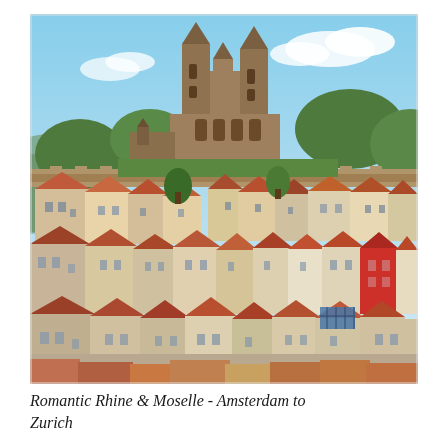[Figure (photo): Aerial view of a historic European town with densely packed buildings and tiled rooftops. A large Romanesque cathedral with twin towers dominates the hilltop, surrounded by trees and medieval stone walls. The foreground shows rows of residential houses with red, brown, and grey roofs.]
Romantic Rhine & Moselle - Amsterdam to Zurich